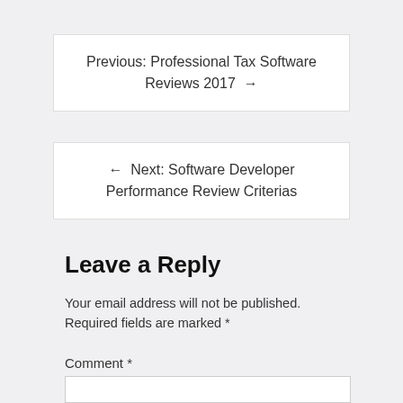Previous: Professional Tax Software Reviews 2017 →
← Next: Software Developer Performance Review Criterias
Leave a Reply
Your email address will not be published. Required fields are marked *
Comment *